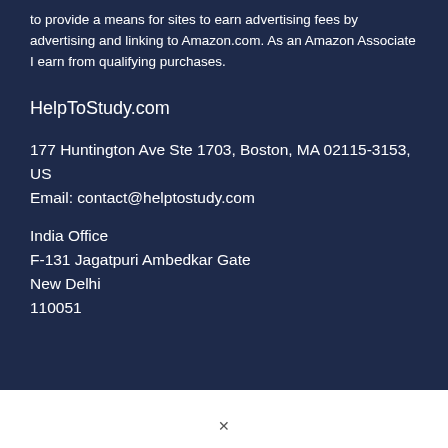to provide a means for sites to earn advertising fees by advertising and linking to Amazon.com. As an Amazon Associate I earn from qualifying purchases.
HelpToStudy.com
177 Huntington Ave Ste 1703, Boston, MA 02115-3153, US
Email: contact@helptostudy.com
India Office
F-131 Jagatpuri Ambedkar Gate
New Delhi
110051